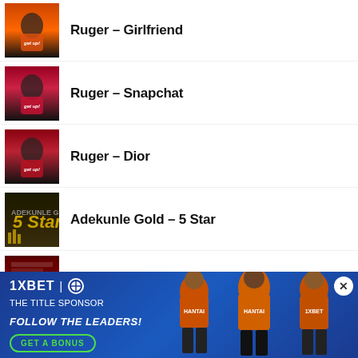Ruger – Girlfriend
Ruger – Snapchat
Ruger – Dior
Adekunle Gold – 5 Star
Burna Boy ft Ed Sheeran – For My Hand
[Figure (illustration): 1XBET advertisement banner with blue gradient background showing Follow The Leaders slogan, Get A Bonus button, and three soccer players in orange jerseys]